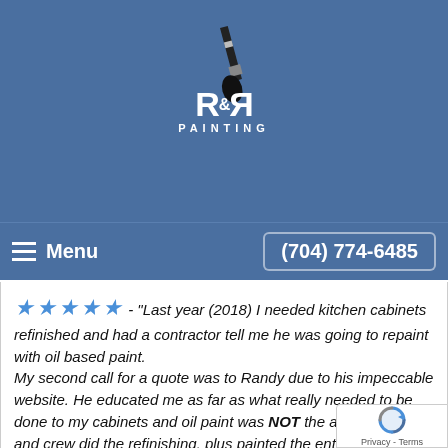[Figure (logo): R&R Painting logo with paintbrush above stylized R&R letters and PAINTING text below, on blue background]
Menu   (704) 774-6485
★★★★★ - "Last year (2018) I needed kitchen cabinets refinished and had a contractor tell me he was going to repaint with oil based paint. My second call for a quote was to Randy due to his impeccable website. He educated me as far as what really needed to be done to my cabinets and oil paint was NOT the answer. Randy and crew did the refinishing, plus painted the entire kitchen and family room and I couldn't be happier. So calm and easy to work with. All the promises fulfilled. Not a penny spent until I was happy with the entire job.